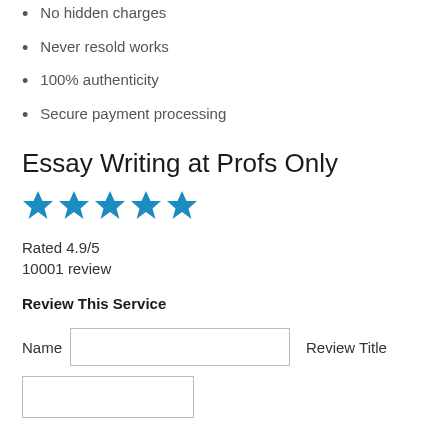No hidden charges
Never resold works
100% authenticity
Secure payment processing
Essay Writing at Profs Only
[Figure (other): Five blue star rating icons in a row]
Rated 4.9/5
10001 review
Review This Service
Name   [input field]   Review Title
[textarea]